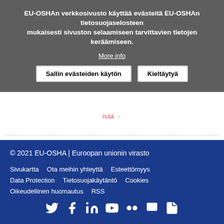EU-OSHAn verkkosivusto käyttää evästeitä EU-OSHAn tietosuojaselosteen mukaisesti sivuston selaamiseen tarvittavien tietojen keräämiseen.
More info
Sallin evästeiden käytön  Kieltäytyä
[Figure (screenshot): Pagination controls showing pages 1 (active, highlighted), 2, 3, ellipsis, next arrow, and last page arrow]
© 2021 EU-OSHA | Euroopan unionin virasto
Sivukartta   Ota meihin yhteyttä   Esteettömyys
Data Protection   Tietosuojakäytäntö   Cookies
Oikeudellinen huomautus   RSS